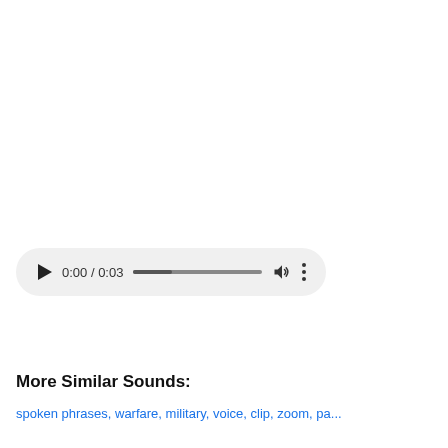[Figure (other): Audio player widget showing play button, time display '0:00 / 0:03', a progress bar, volume icon, and more options (three dots) button, styled with a light gray pill-shaped background.]
More Similar Sounds:
spoken phrases, warfare, military, voice, clip, zoom, pa...